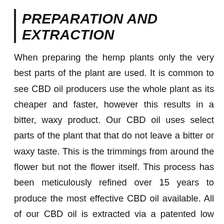PREPARATION AND EXTRACTION
When preparing the hemp plants only the very best parts of the plant are used. It is common to see CBD oil producers use the whole plant as its cheaper and faster, however this results in a bitter, waxy product. Our CBD oil uses select parts of the plant that that do not leave a bitter or waxy taste. This is the trimmings from around the flower but not the flower itself. This process has been meticulously refined over 15 years to produce the most effective CBD oil available. All of our CBD oil is extracted via a patented low temperature extraction process. The oil is extracted slowly at low temperature to avoid the loss of vital